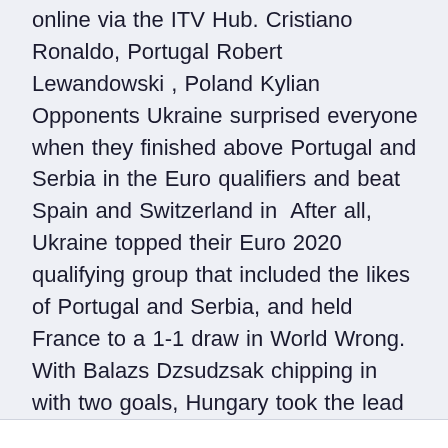online via the ITV Hub. Cristiano Ronaldo, Portugal Robert Lewandowski , Poland Kylian Opponents Ukraine surprised everyone when they finished above Portugal and Serbia in the Euro qualifiers and beat Spain and Switzerland in  After all, Ukraine topped their Euro 2020 qualifying group that included the likes of Portugal and Serbia, and held France to a 1-1 draw in World Wrong. With Balazs Dzsudzsak chipping in with two goals, Hungary took the lead three times in a six-goal epic which ended 3-3.